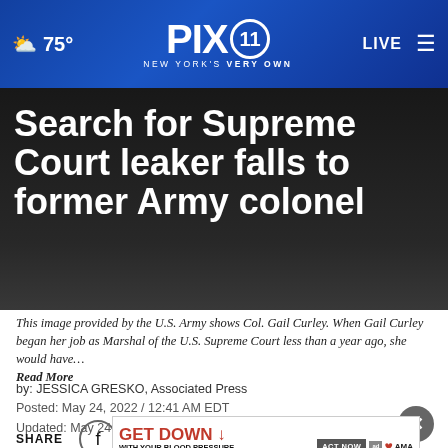☁ 75° | PIX 11 NEW YORK'S VERY OWN | LIVE
Search for Supreme Court leaker falls to former Army colonel
This image provided by the U.S. Army shows Col. Gail Curley. When Gail Curley began her job as Marshal of the U.S. Supreme Court less than a year ago, she would have… Read More
by: JESSICA GRESKO, Associated Press
Posted: May 24, 2022 / 12:41 AM EDT
Updated: May 24, 2022 / 10:53 PM EDT
[Figure (infographic): SHARE row with Facebook, Twitter, WhatsApp icons and more dots]
[Figure (infographic): Advertisement banner: GET DOWN WITH YOUR BLOOD PRESSURE - ACT NOW, with ad logos and AMA logo]
WASH... job